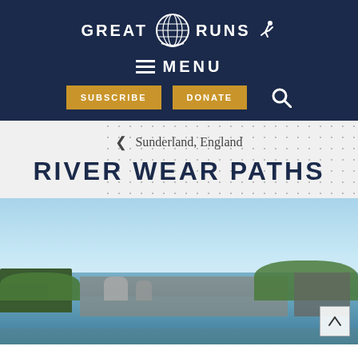[Figure (logo): Great Runs logo with globe icon and running figure on dark navy background]
≡ MENU
SUBSCRIBE   DONATE
← Sunderland, England
RIVER WEAR PATHS
[Figure (photo): Aerial/elevated view of River Wear in Sunderland, England showing the river, bridges, industrial buildings, green trees, and a bright blue sky]